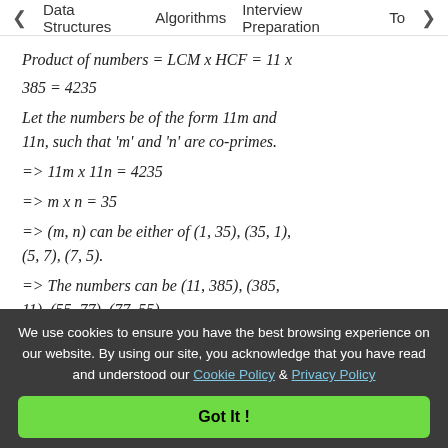< Data Structures   Algorithms   Interview Preparation   To>
Product of numbers = LCM x HCF = 11 x 385 = 4235
Let the numbers be of the form 11m and 11n, such that 'm' and 'n' are co-primes.
=> 11m x 11n = 4235
=> m x n = 35
=> (m, n) can be either of (1, 35), (35, 1), (5, 7), (7, 5).
=> The numbers can be (11, 385), (385, 11), (55, 77), (77, 55).
But it is given that the numbers cannot
We use cookies to ensure you have the best browsing experience on our website. By using our site, you acknowledge that you have read and understood our Cookie Policy & Privacy Policy
Got It !